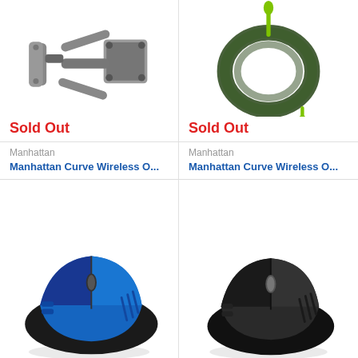[Figure (photo): Wall mount bracket, grey/dark metal, articulating arm against white background]
Sold Out
Manhattan
Manhattan Curve Wireless O...
[Figure (photo): Green coiled cable/wire with lime green connector tips against white background]
Sold Out
Manhattan
Manhattan Curve Wireless O...
[Figure (photo): Blue and black wireless ergonomic computer mouse]
[Figure (photo): Black wireless ergonomic computer mouse]